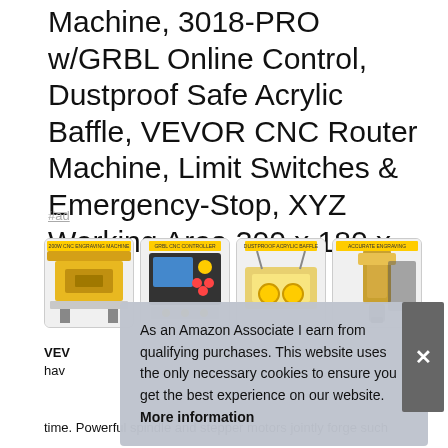Machine, 3018-PRO w/GRBL Online Control, Dustproof Safe Acrylic Baffle, VEVOR CNC Router Machine, Limit Switches & Emergency-Stop, XYZ Working Area 300 x 180 x 45mm
#ad
[Figure (photo): Four product thumbnail images of a VEVOR CNC router machine showing the machine itself, the control module, the dustproof acrylic baffle, and a close-up of the spindle.]
VEVOR CNC Engraving Machine, 3018-PRO w/GRBL Online Control — have ... time. Powerful spindle and stepper motors jointly forge such
As an Amazon Associate I earn from qualifying purchases. This website uses the only necessary cookies to ensure you get the best experience on our website. More information